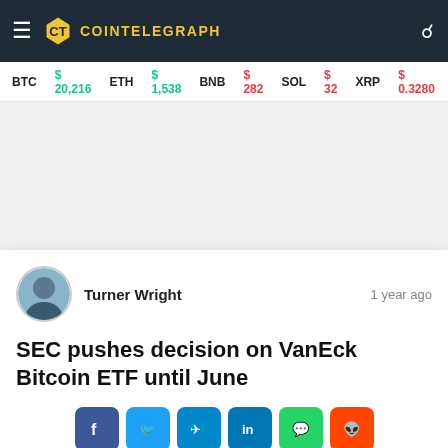COINTELEGRAPH
BTC $ 20,216   ETH $ 1,538   BNB $ 282   SOL $ 32   XRP $ 0.3280   BCH $
Turner Wright   1 year ago
SEC pushes decision on VanEck Bitcoin ETF until June
9256 views   56 shares